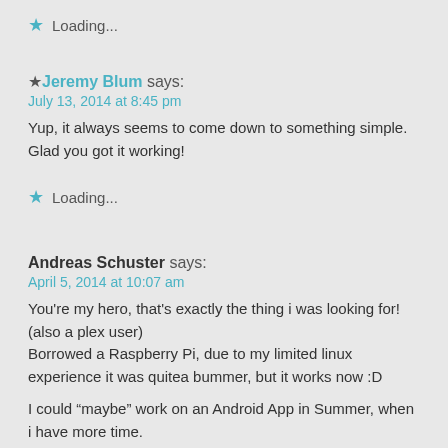★ Loading...
★ Jeremy Blum says:
July 13, 2014 at 8:45 pm
Yup, it always seems to come down to something simple. Glad you got it working!
★ Loading...
Andreas Schuster says:
April 5, 2014 at 10:07 am
You're my hero, that's exactly the thing i was looking for! (also a plex user)
Borrowed a Raspberry Pi, due to my limited linux experience it was quitea bummer, but it works now :D
I could “maybe” work on an Android App in Summer, when i have more time.